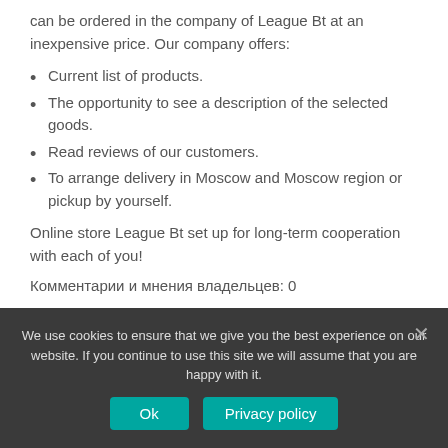can be ordered in the company of League Bt at an inexpensive price. Our company offers:
Current list of products.
The opportunity to see a description of the selected goods.
Read reviews of our customers.
To arrange delivery in Moscow and Moscow region or pickup by yourself.
Online store League Bt set up for long-term cooperation with each of you!
Комментарии и мнения владельцев: 0
We use cookies to ensure that we give you the best experience on our website. If you continue to use this site we will assume that you are happy with it.